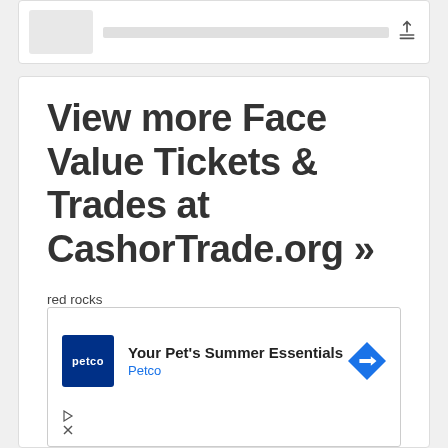[Figure (screenshot): Top card with thumbnail image and share icon]
View more Face Value Tickets & Trades at CashorTrade.org »
red rocks
AndyHenehan pompano beach, FL
2 VIP Friday wristbands
melig75 Downers Grove, IL
[Figure (screenshot): Petco advertisement - Your Pet's Summer Essentials]